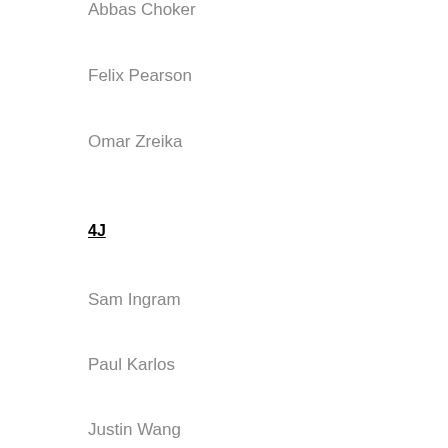Abbas Choker
Felix Pearson
Omar Zreika
4J
Sam Ingram
Paul Karlos
Justin Wang
5B
Max Botros
Patrick Crook
Ewan Yam